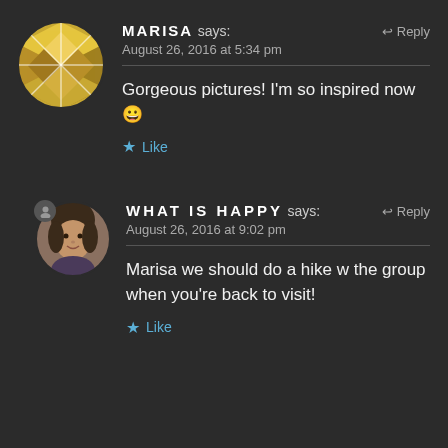[Figure (illustration): Circular avatar with gold and white quilt/diamond geometric pattern for user Marisa]
MARISA says:
Reply
August 26, 2016 at 5:34 pm
Gorgeous pictures! I'm so inspired now 😀
Like
[Figure (photo): Circular avatar photo of a woman for user What Is Happy]
WHAT IS HAPPY says:
Reply
August 26, 2016 at 9:02 pm
Marisa we should do a hike w the group when you're back to visit!
Like